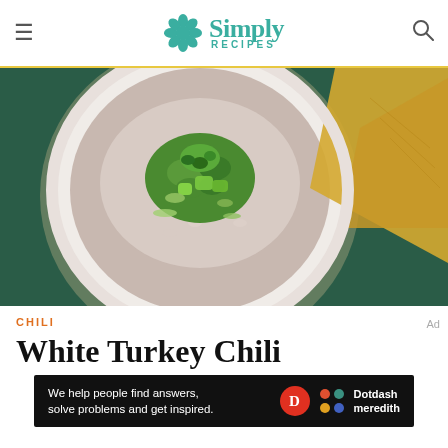Simply Recipes
[Figure (photo): Overhead view of a white bowl of white turkey chili topped with shredded cheese, green onions, cilantro, and avocado, served on a dark green background with tortilla chips nearby.]
CHILI
White Turkey Chili
[Figure (infographic): Dotdash Meredith advertisement banner: 'We help people find answers, solve problems and get inspired.']